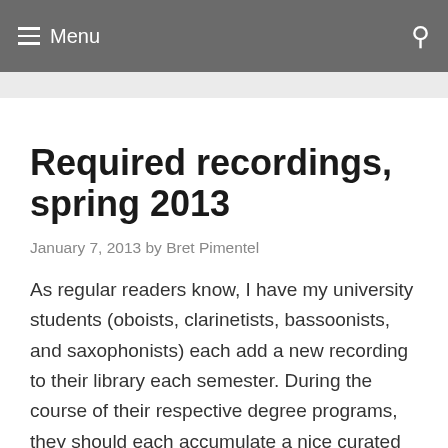Menu
Required recordings, spring 2013
January 7, 2013 by Bret Pimentel
As regular readers know, I have my university students (oboists, clarinetists, bassoonists, and saxophonists) each add a new recording to their library each semester. During the course of their respective degree programs, they should each accumulate a nice curated collection of recordings. Here are this semester's selections: